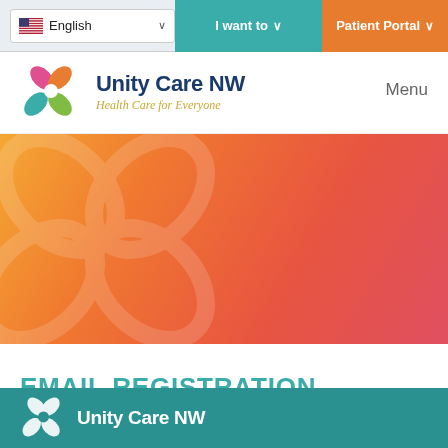English  |  I want to  |  Patient Portal
[Figure (logo): Unity Care NW logo with colorful flower icon and tagline 'Health Care for Everyone']
Menu
[Figure (illustration): Orange to coral gradient banner with watermark of Unity Care NW logo symbol]
EMAIL REGISTRATION
[Figure (logo): Unity Care NW logo on teal footer background (partially visible)]